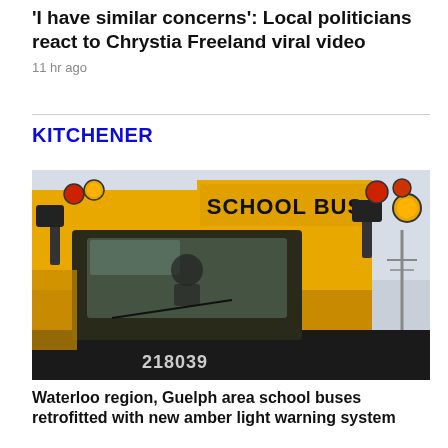'I have similar concerns': Local politicians react to Chrystia Freeland viral video
11 hr ago
KITCHENER
[Figure (photo): Front view of a yellow school bus numbered 218039 with 'SCHOOL BUS' text on the front, amber warning lights visible, driver visible through windshield.]
Waterloo region, Guelph area school buses retrofitted with new amber light warning system